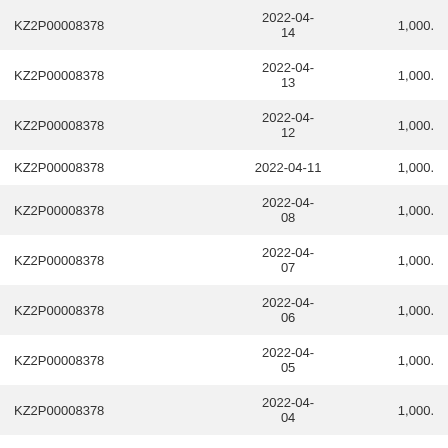| KZ2P00008378 | 2022-04-14 | 1,000. |
| KZ2P00008378 | 2022-04-13 | 1,000. |
| KZ2P00008378 | 2022-04-12 | 1,000. |
| KZ2P00008378 | 2022-04-11 | 1,000. |
| KZ2P00008378 | 2022-04-08 | 1,000. |
| KZ2P00008378 | 2022-04-07 | 1,000. |
| KZ2P00008378 | 2022-04-06 | 1,000. |
| KZ2P00008378 | 2022-04-05 | 1,000. |
| KZ2P00008378 | 2022-04-04 | 1,000. |
| KZ2P00008378 | 2022-04-01 | 1,000. |